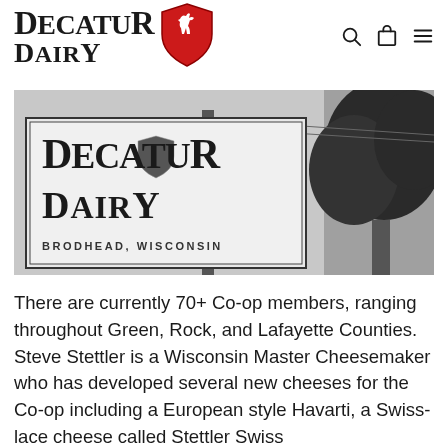[Figure (logo): Decatur Dairy logo with red shield containing a leaping deer/animal, bold serif text reading DECATUR DAIRY]
[Figure (photo): Black and white photograph of Decatur Dairy sign reading 'DECATUR DAIRY - BRODHEAD, WISCONSIN' with a tree in the background]
There are currently 70+ Co-op members, ranging throughout Green, Rock, and Lafayette Counties. Steve Stettler is a Wisconsin Master Cheesemaker who has developed several new cheeses for the Co-op including a European style Havarti, a Swiss-lace cheese called Stettler Swiss